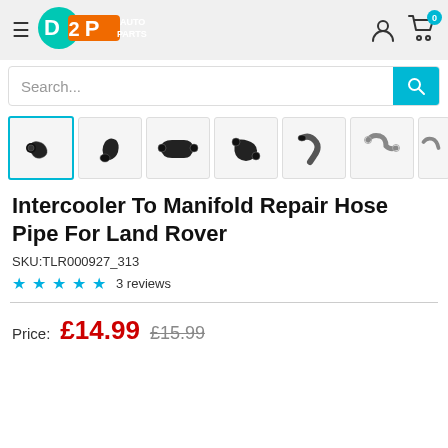[Figure (logo): D2P Auto Parts logo — teal circle with orange rectangle and white text]
Search...
[Figure (photo): Product thumbnail gallery showing 7 images of intercooler hose pipes in various angles]
Intercooler To Manifold Repair Hose Pipe For Land Rover
SKU:TLR000927_313
3 reviews
Price: £14.99 £15.99